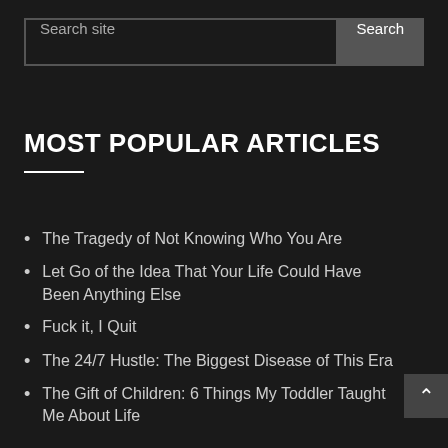Search site | Search
MOST POPULAR ARTICLES
The Tragedy of Not Knowing Who You Are
Let Go of the Idea That Your Life Could Have Been Anything Else
Fuck it, I Quit
The 24/7 Hustle: The Biggest Disease of This Era
The Gift of Children: 6 Things My Toddler Taught Me About Life